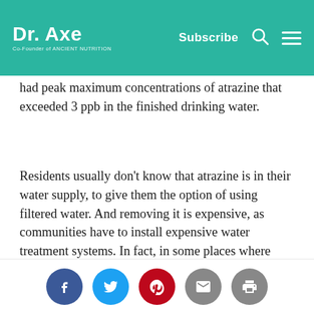Dr. Axe | Subscribe
had peak maximum concentrations of atrazine that exceeded 3 ppb in the finished drinking water.
Residents usually don't know that atrazine is in their water supply, to give them the option of using filtered water. And removing it is expensive, as communities have to install expensive water treatment systems. In fact, in some places where local officials are concerned about atrazine levels, water systems have actually sued atrazine manufacturers to make them pay for the costs of removing the herbicide from the drinking water.
Social share icons: Facebook, Twitter, Pinterest, Email, Print